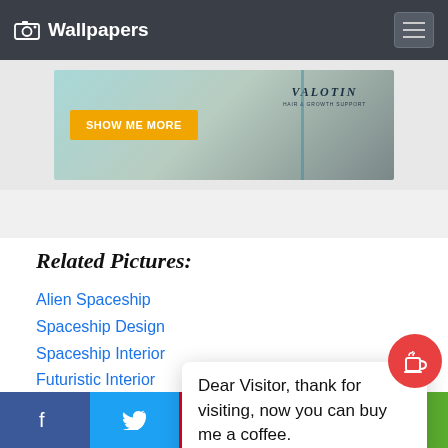Wallpapers
[Figure (photo): Advertisement banner for VALOTIN hair and growth support product with 'SHOW ME MORE' yellow button, showing a blond-haired person and product bottle]
Related Pictures:
Alien Spaceship
Spaceship Design
Spaceship Interior
Futuristic Interior
Nave S[paceship]
Starfle[et]
Sci Fi [...]
Dear Visitor, thank for visiting, now you can buy me a coffee.
Facebook | Twitter | Pinterest | SMS | Share